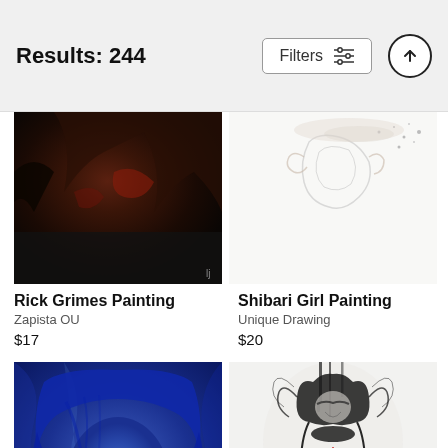Results: 244
[Figure (screenshot): Filters button with sliders icon and up-arrow scroll button]
[Figure (photo): Rick Grimes Painting — dark dramatic painting of a figure]
Rick Grimes Painting
Zapista OU
$17
[Figure (illustration): Shibari Girl Painting — ink-style sketch of a figure on white background]
Shibari Girl Painting
Unique Drawing
$20
[Figure (illustration): Blue-toned portrait painting of a woman with glasses]
[Figure (illustration): Black and white ink illustration of a figure with red accents]